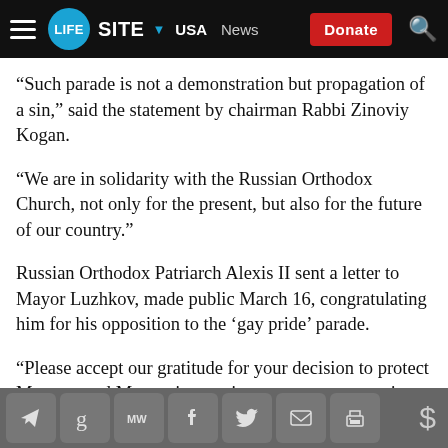LifeSite — USA  News  Donate
“Such parade is not a demonstration but propagation of a sin,” said the statement by chairman Rabbi Zinoviy Kogan.
“We are in solidarity with the Russian Orthodox Church, not only for the present, but also for the future of our country.”
Russian Orthodox Patriarch Alexis II sent a letter to Mayor Luzhkov, made public March 16, congratulating him for his opposition to the ‘gay pride’ parade.
“Please accept our gratitude for your decision to protect Moscow and Muscovites against attempts to organize a public parade of propaganda for sin,” he
Social share icons: Telegram, Gab, MeWe, Facebook, Twitter, Email, Print | Donate ($)